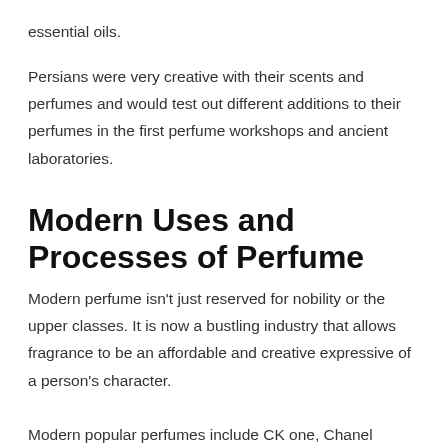essential oils.
Persians were very creative with their scents and perfumes and would test out different additions to their perfumes in the first perfume workshops and ancient laboratories.
Modern Uses and Processes of Perfume
Modern perfume isn’t just reserved for nobility or the upper classes. It is now a bustling industry that allows fragrance to be an affordable and creative expressive of a person’s character.
Modern popular perfumes include CK one, Chanel